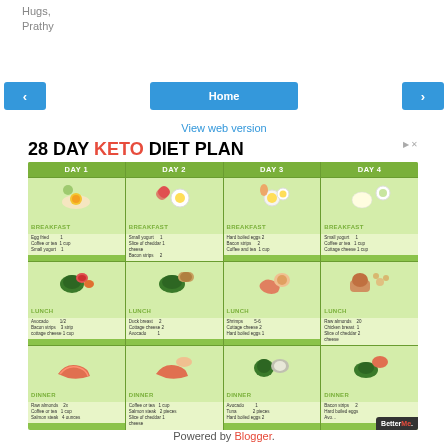Hugs,
Prathy
< Home >
View web version
[Figure (infographic): 28 Day Keto Diet Plan infographic showing Days 1-4 with Breakfast, Lunch, and Dinner meals for each day. Day 1 Breakfast: Egg fried, Coffee or tea 1 cup, Small yogurt. Lunch: Avocado 1/2, Bacon strips 3 strip, cottage cheese 1 cup. Dinner: Raw almonds 2x, Coffee or tea 1 cup, Salmon steak 4 ounces. Day 2 Breakfast: Small yogurt, Slice of cheddar cheese, Bacon strips 2. Lunch: Duck breast 2, Cottage cheese 2, Avocado 1. Dinner: Coffee or tea 1 cup, Salmon steak 2 pieces, Slice of cheddar cheese. Day 3 Breakfast: Hard boiled eggs 2, Bacon strips 2, Coffee and tea 1 cup. Lunch: Shrimps 5-6, Cottage cheese 2, Hard boiled eggs 1. Dinner: Avocado 1, Tuna 2 pieces, Hard boiled eggs 2. Day 4 Breakfast: Small yogurt 1, Coffee or tea 1 cup, Cottage cheese 1 cup. Lunch: Raw almonds 20, Chicken breast 1, Slice of cheddar cheese 2. Dinner: Bacon strips 2, Hard boiled eggs, Avocado.]
Powered by Blogger.